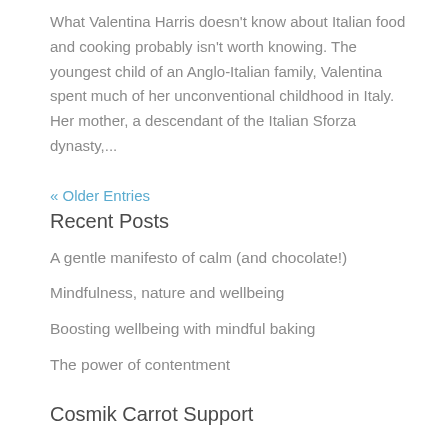What Valentina Harris doesn't know about Italian food and cooking probably isn't worth knowing. The youngest child of an Anglo-Italian family, Valentina spent much of her unconventional childhood in Italy. Her mother, a descendant of the Italian Sforza dynasty,...
« Older Entries
Recent Posts
A gentle manifesto of calm (and chocolate!)
Mindfulness, nature and wellbeing
Boosting wellbeing with mindful baking
The power of contentment
Cosmik Carrot Support